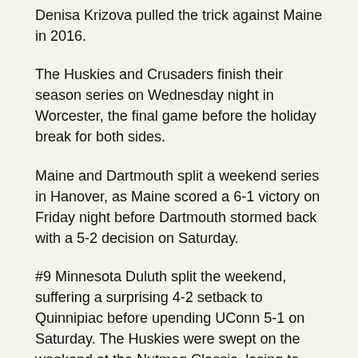Denisa Krizova pulled the trick against Maine in 2016.
The Huskies and Crusaders finish their season series on Wednesday night in Worcester, the final game before the holiday break for both sides.
Maine and Dartmouth split a weekend series in Hanover, as Maine scored a 6-1 victory on Friday night before Dartmouth stormed back with a 5-2 decision on Saturday.
#9 Minnesota Duluth split the weekend, suffering a surprising 4-2 setback to Quinnipiac before upending UConn 5-1 on Saturday. The Huskies were swept on the weekend at the Nutmeg Classic, losing to UMD after a 6-2 loss to Yale on Friday.
The Bobcats completed a weekend sweep with a 3-1